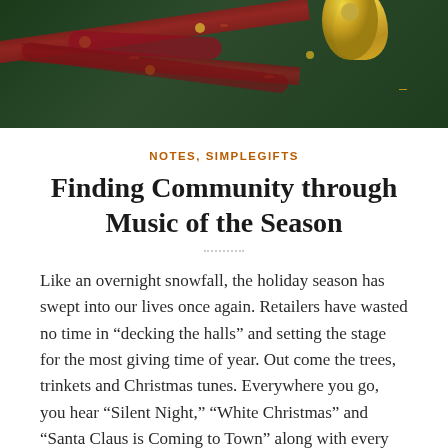[Figure (photo): Holiday-themed photo showing red ribbons and gold ornaments/bells on a dark green background]
NOTES, SIMPLEGIFTS
Finding Community through Music of the Season
Like an overnight snowfall, the holiday season has swept into our lives once again. Retailers have wasted no time in “decking the halls” and setting the stage for the most giving time of year. Out come the trees, trinkets and Christmas tunes. Everywhere you go, you hear “Silent Night,” “White Christmas” and “Santa Claus is Coming to Town” along with every Christmas song ever written, it seems. After the thousandth time of